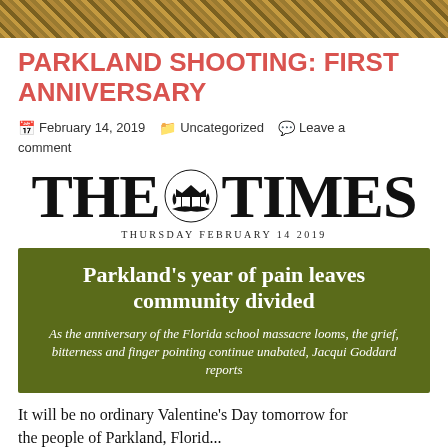[Figure (photo): Top decorative image strip, appears to be flowers or foliage in warm tones]
PARKLAND SHOOTING: FIRST ANNIVERSARY
February 14, 2019   Uncategorized   Leave a comment
[Figure (logo): The Times newspaper masthead logo with royal crest, dated THURSDAY FEBRUARY 14 2019]
Parkland's year of pain leaves community divided
As the anniversary of the Florida school massacre looms, the grief, bitterness and finger pointing continue unabated, Jacqui Goddard reports
It will be no ordinary Valentine's Day tomorrow for the people of Parkland, Florida. The day's associations…